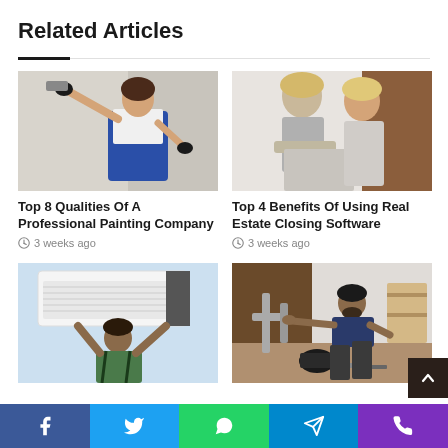Related Articles
[Figure (photo): Woman in overalls painting a wall with a roller brush, wearing black gloves]
Top 8 Qualities Of A Professional Painting Company
3 weeks ago
[Figure (photo): Two women smiling and using a laptop together]
Top 4 Benefits Of Using Real Estate Closing Software
3 weeks ago
[Figure (photo): Technician repairing an air conditioning unit mounted on a wall]
[Figure (photo): Plumber working under a sink fixing pipes]